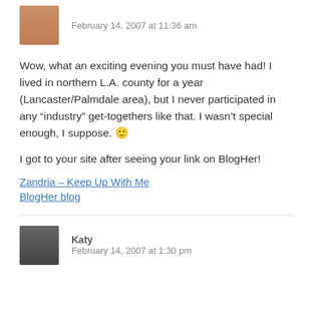[Figure (photo): Avatar photo of commenter (top, partial face shown, warm skin tones)]
February 14, 2007 at 11:36 am
Wow, what an exciting evening you must have had! I lived in northern L.A. county for a year (Lancaster/Palmdale area), but I never participated in any “industry” get-togethers like that. I wasn’t special enough, I suppose. 🙂
I got to your site after seeing your link on BlogHer!
Zandria – Keep Up With Me
BlogHer blog
[Figure (photo): Avatar photo of Katy (black and white close-up portrait)]
Katy
February 14, 2007 at 1:30 pm